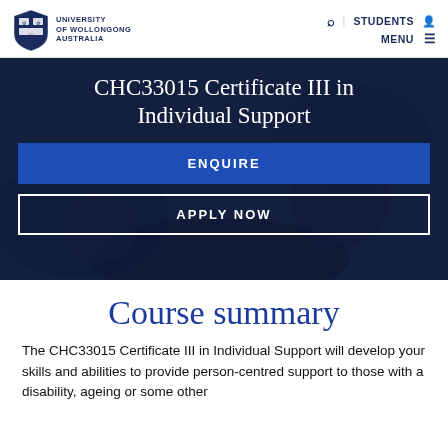UNIVERSITY OF WOLLONGONG AUSTRALIA | STUDENTS | MENU
CHC33015 Certificate III in Individual Support
ENQUIRE
APPLY NOW
Course summary
The CHC33015 Certificate III in Individual Support will develop your skills and abilities to provide person-centred support to those with a disability, ageing or some other